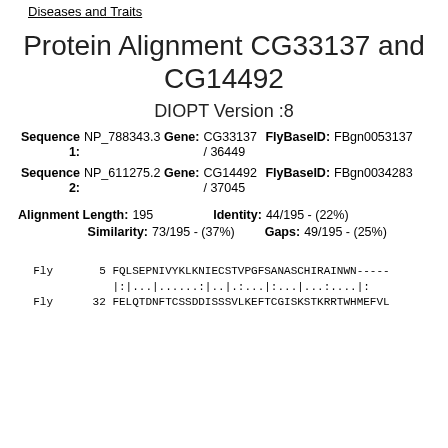Diseases and Traits
Protein Alignment CG33137 and CG14492
DIOPT Version :8
Sequence 1: NP_788343.3 Gene: CG33137 / 36449 FlyBaseID: FBgn0053137
Sequence 2: NP_611275.2 Gene: CG14492 / 37045 FlyBaseID: FBgn0034283
Alignment Length: 195   Identity: 44/195 - (22%)   Similarity: 73/195 - (37%)   Gaps: 49/195 - (25%)
Fly   5 FQLSEPNIVYKLKNIECSTVPGFSANASCHIRAINWN-----
        |:|...|......:|..|.:...|:...|...:....|:
Fly  32 FELQTDNFTCSSDDISSSVLKEFTCGISKSTKRRTWHMEFVL